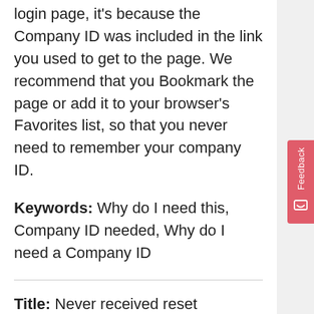login page, it's because the Company ID was included in the link you used to get to the page. We recommend that you Bookmark the page or add it to your browser's Favorites list, so that you never need to remember your company ID.
Keywords: Why do I need this, Company ID needed, Why do I need a Company ID
Title: Never received reset password link